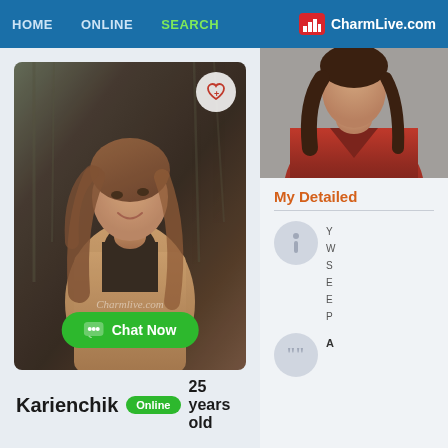HOME  ONLINE  SEARCH  CharmLive.com
[Figure (photo): Profile photo of a young woman with long brown hair, wearing a beige jacket over a dark turtleneck, smiling, outdoors in autumn/winter setting with bare trees in background]
Chat Now
Karienchik  Online  25 years old
My Detailed
[Figure (photo): Partial photo of a woman in a red top, cropped at the top right of the page]
Y
W
S
E
E
P